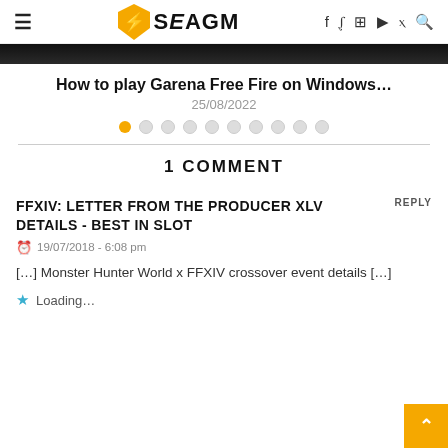SEAGM navigation header with logo and social icons
[Figure (photo): Dark banner image strip at top of content area]
How to play Garena Free Fire on Windows...
25/08/2022
[Figure (other): Pagination dots: 1 orange filled dot and 9 empty circle dots]
1 COMMENT
FFXIV: LETTER FROM THE PRODUCER XLV DETAILS - BEST IN SLOT
19/07/2018 - 6:08 pm
[...] Monster Hunter World x FFXIV crossover event details [...]
Loading...